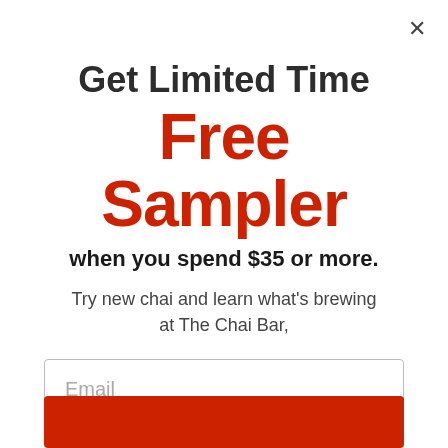×
Get Limited Time
Free Sampler
when you spend $35 or more.
Try new chai and learn what's brewing at The Chai Bar,
Email